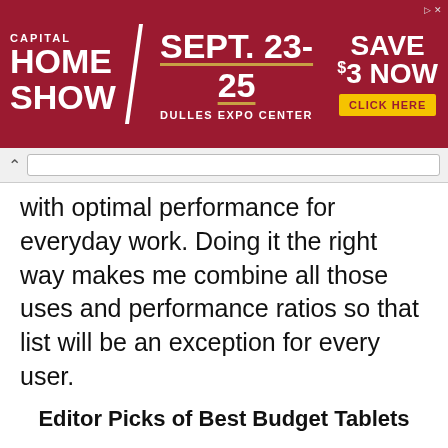[Figure (screenshot): Advertisement banner for Capital Home Show, Sept. 23-25, Dulles Expo Center. Save $3 Now. Click Here button.]
with optimal performance for everyday work. Doing it the right way makes me combine all those uses and performance ratios so that list will be an exception for every user.
Editor Picks of Best Budget Tablets
The best budget tablet under 300 is Samsung
This website uses cookies in order to offer you the most relavant information.
I understand